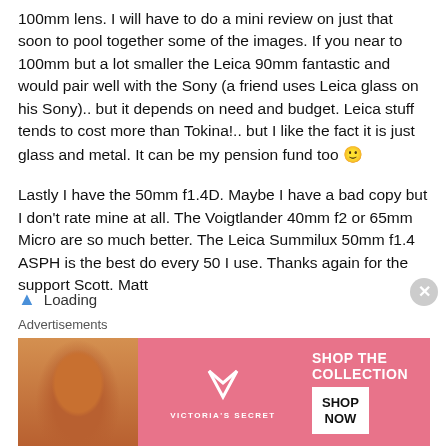100mm lens. I will have to do a mini review on just that soon to pool together some of the images. If you near to 100mm but a lot smaller the Leica 90mm fantastic and would pair well with the Sony (a friend uses Leica glass on his Sony).. but it depends on need and budget. Leica stuff tends to cost more than Tokina!.. but I like the fact it is just glass and metal. It can be my pension fund too 🙂
Lastly I have the 50mm f1.4D. Maybe I have a bad copy but I don't rate mine at all. The Voigtlander 40mm f2 or 65mm Micro are so much better. The Leica Summilux 50mm f1.4 ASPH is the best do every 50 I use. Thanks again for the support Scott. Matt
Loading
Advertisements
[Figure (other): Victoria's Secret advertisement banner. Pink background with a woman's photo on the left, VS logo and 'VICTORIA'S SECRET' text in center, and 'SHOP THE COLLECTION' with 'SHOP NOW' button on the right.]